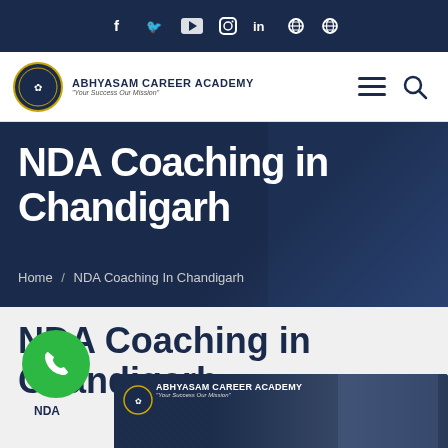Social media icons: f (Facebook), Twitter, YouTube, Instagram, LinkedIn, Globe, Globe
[Figure (logo): Abhyasam Career Academy logo with circular emblem and tagline 'Your Success Our Mission']
NDA Coaching in Chandigarh
Home / NDA Coaching In Chandigarh
NDA Coaching in Chandigarh
[Figure (photo): Abhyasam Career Academy banner with military personnel photo at bottom of page]